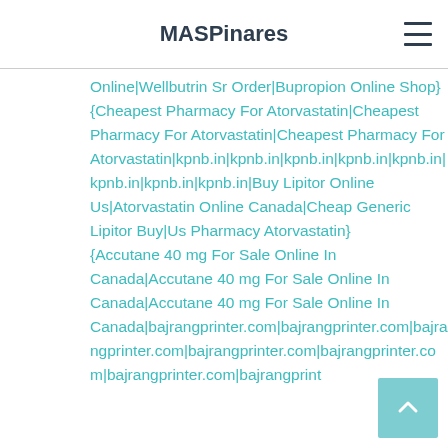MASPinares
{Online|Wellbutrin Sr Order|Bupropion Online Shop} {Cheapest Pharmacy For Atorvastatin|Cheapest Pharmacy For Atorvastatin|Cheapest Pharmacy For Atorvastatin|kpnb.in|kpnb.in|kpnb.in|kpnb.in|kpnb.in|kpnb.in|kpnb.in|kpnb.in|Buy Lipitor Online Us|Atorvastatin Online Canada|Cheap Generic Lipitor Buy|Us Pharmacy Atorvastatin} {Accutane 40 mg For Sale Online In Canada|Accutane 40 mg For Sale Online In Canada|Accutane 40 mg For Sale Online In Canada|bajrangprinter.com|bajrangprinter.com|bajrangprinter.com|bajrangprinter.com|bajrangprinter.com|bajrangprinter.com|bajrangprinter.com|bajrangprint